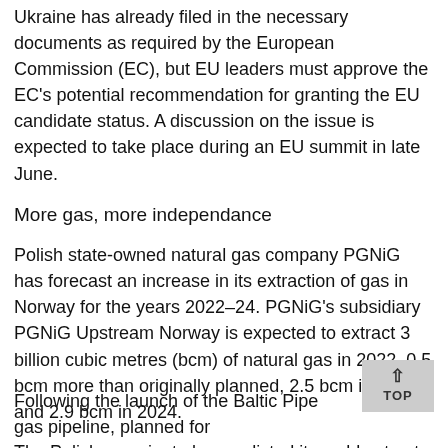Ukraine has already filed in the necessary documents as required by the European Commission (EC), but EU leaders must approve the EC's potential recommendation for granting the EU candidate status. A discussion on the issue is expected to take place during an EU summit in late June.
More gas, more independance
Polish state-owned natural gas company PGNiG has forecast an increase in its extraction of gas in Norway for the years 2022–24. PGNiG's subsidiary PGNiG Upstream Norway is expected to extract 3 billion cubic metres (bcm) of natural gas in 2022, 0.5 bcm more than originally planned, 2.5 bcm in 2023 and 2.9 bcm in 2024.
The Polish gas giant also predicted it would extract 863,000 tonnes of crude oil in 2022 as well as 798,000 and 928,000 tonnes in 2023 and 2024 respectively.
Following the launch of the Baltic Pipe gas pipeline, planned for